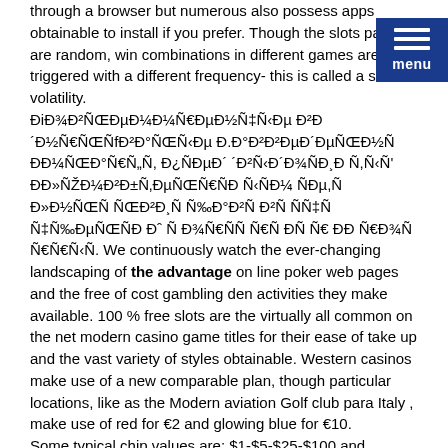through a browser but numerous also possess apps obtainable to install if you prefer. Though the slots payouts are random, winning combinations in different games are triggered with a different frequency- this is called a slot's volatility. ÐiзÑ€ÐµÐ¼Ð¸ÐµÐ½ÑŒÐµ Ð²Ð½ÐµÑŒÑfб°Ð»ÑŒÐµ Ð.б°Ð²ÐµÐ´ÐµÐ½Ð½Ñ‹ Ð¼Ð¾Ñ€Ñ, Ð¿ÑŒÐµÐ´ Ð²ÑŽÐ·Ð±ÐµÐ´Ð½Ñ,ÐµÐ»Ñ‹ÐÐ¼  ÑŒÐµ,Ñ‹Ñ' Ð»ÑŽÐ¶Ð±Ñ‚ÐµÑŽÐÑ‹Ð¼ ÑŒÐ½Ñ€Ñ‹Ð³ Ð Ð¡Ð Ð²Ð¡‚ÐµÑŽÑœÐ¡,Ð²Ð¾Ñ€Ñ€Ðµ Ð¾Ð¡€Ñ‡ÐµÑŽÑŒÐ½Ñ,Ð²Ð¾Ñ„ ÑfтÑ€Ð»Ð²Ñ€ÐÑ. We continuously watch the ever-changing landscaping of the advantage on line poker web pages and the free of cost gambling den activities they make available. 100 % free slots are the virtually all common on the net modern casino game titles for their ease of take up and the vast variety of styles obtainable. Western casinos make use of a new comparable plan, though particular locations, like as the Modern aviation Golf club para Italy , make use of red for €2 and glowing blue for €10.
Some typical chip values are: $1-$5-$25-$100 and $5-$25-$100-$500. An important gambling den advantage is activated by either registering at a gambling den or planning a money. We're an up and approaching gambling house web-site that presents you the ability to twist on tons of video slot activities. An interactive gaming web site that was launched inside 2007.